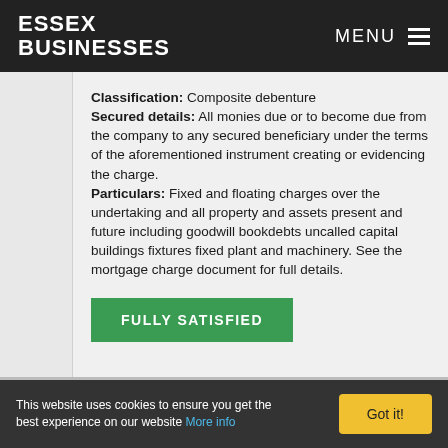ESSEX BUSINESSES  MENU
Classification: Composite debenture Secured details: All monies due or to become due from the company to any secured beneficiary under the terms of the aforementioned instrument creating or evidencing the charge. Particulars: Fixed and floating charges over the undertaking and all property and assets present and future including goodwill bookdebts uncalled capital buildings fixtures fixed plant and machinery. See the mortgage charge document for full details.
FULLY SATISFIED
This website uses cookies to ensure you get the best experience on our website More info  Got it!